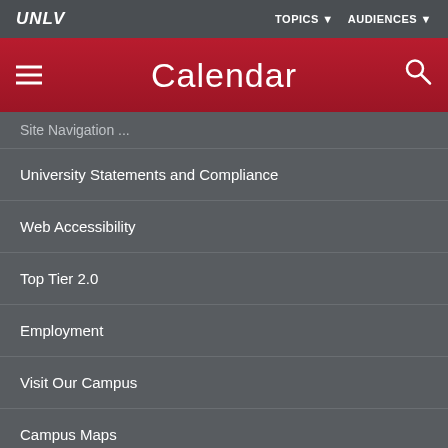UNLV | TOPICS ▾ AUDIENCES ▾
Calendar
Site Navigation (partial)
University Statements and Compliance
Web Accessibility
Top Tier 2.0
Employment
Visit Our Campus
Campus Maps
Parking Information
News Center
Contact UNLV